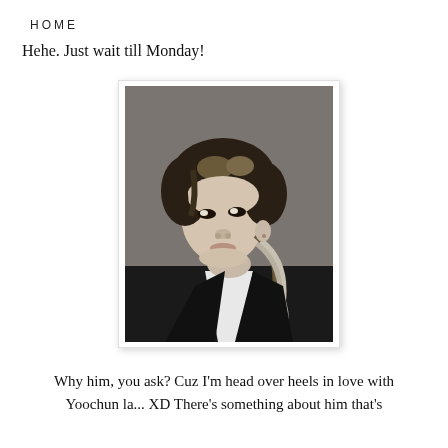HOME
Hehe. Just wait till Monday!
[Figure (photo): Black and white portrait photo of a young Asian man with long layered hair, wearing a dark jacket and white shirt, looking slightly upward to the side.]
Why him, you ask? Cuz I'm head over heels in love with Yoochun la... XD There's something about him that's